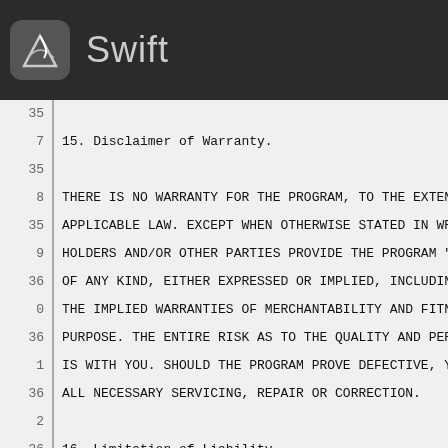Swift
35
 7   15. Disclaimer of Warranty.
35
 8   THERE IS NO WARRANTY FOR THE PROGRAM, TO THE EXTEN
35   APPLICABLE LAW.  EXCEPT WHEN OTHERWISE STATED IN WRI
 9   HOLDERS AND/OR OTHER PARTIES PROVIDE THE PROGRAM "AS
36   OF ANY KIND, EITHER EXPRESSED OR IMPLIED, INCLUDING,
 0   THE IMPLIED WARRANTIES OF MERCHANTABILITY AND FITNES
36   PURPOSE.  THE ENTIRE RISK AS TO THE QUALITY AND PERF
 1   IS WITH YOU.  SHOULD THE PROGRAM PROVE DEFECTIVE, YO
36   ALL NECESSARY SERVICING, REPAIR OR CORRECTION.
 2
36    16. Limitation of Liability.
 3
36   IN NO EVENT UNLESS REQUIRED BY APPLICABLE LAW OR A
 4   WILL ANY COPYRIGHT HOLDER, OR ANY OTHER PARTY WHO MO
36   THE PROGRAM AS PERMITTED ABOVE, BE LIABLE TO YOU FOR
 5   GENERAL, SPECIAL, INCIDENTAL OR CONSEQUENTIAL DAMAGE
36   USE OR INABILITY TO USE THE PROGRAM (INCLUDING BUT N
 6   DATA OR DATA BEING RENDERED INACCURATE OR LOSSES